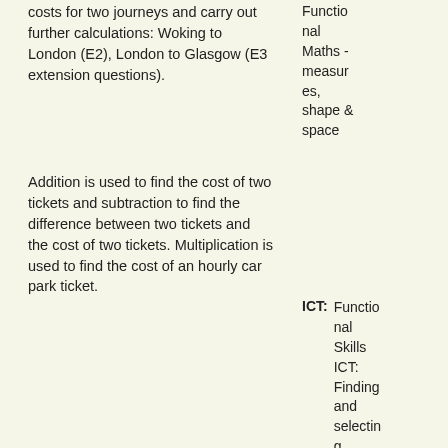costs for two journeys and carry out further calculations: Woking to London (E2), London to Glasgow (E3 extension questions).
Addition is used to find the cost of two tickets and subtraction to find the difference between two tickets and the cost of two tickets. Multiplication is used to find the cost of an hourly car park ticket.
Functional Maths - measures, shape & space
ICT: Functional Skills ICT: Finding and selecting information
Context: Leisure, Hobbies, Travel & Tourism